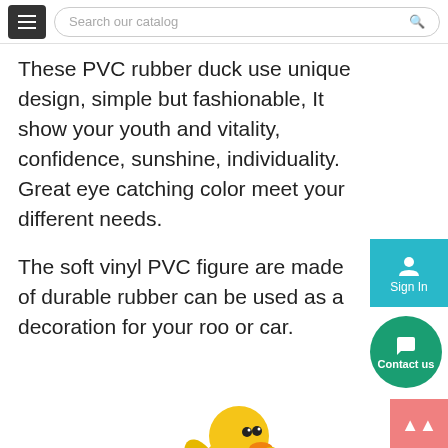Search our catalog
These PVC rubber duck use unique design, simple but fashionable, It show your youth and vitality, confidence, sunshine, individuality. Great eye catching color meet your different needs.
The soft vinyl PVC figure are made of durable rubber can be used as a decoration for your roo or car.
[Figure (photo): Yellow PVC rubber duck figure sitting on top of a chocolate frosted donut with colorful sprinkles]